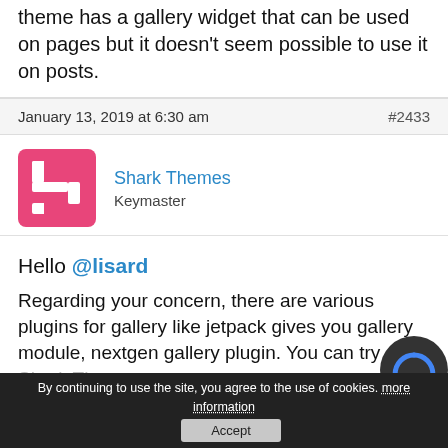theme has a gallery widget that can be used on pages but it doesn't seem possible to use it on posts.
January 13, 2019 at 6:30 am    #2433
[Figure (logo): Shark Themes pink logo — square bracket S shape]
Shark Themes
Keymaster
Hello @lisard
Regarding your concern, there are various plugins for gallery like jetpack gives you gallery module, nextgen gallery plugin. You can try one of those.
Regards
Shark Themes
By continuing to use the site, you agree to the use of cookies. more information
Accept